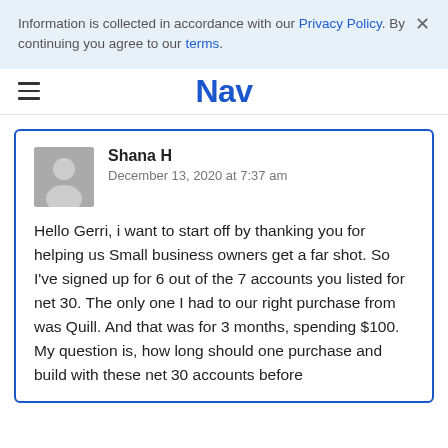Information is collected in accordance with our Privacy Policy. By continuing you agree to our terms.
Nav
Shana H
December 13, 2020 at 7:37 am

Hello Gerri, i want to start off by thanking you for helping us Small business owners get a far shot. So I've signed up for 6 out of the 7 accounts you listed for net 30. The only one I had to our right purchase from was Quill. And that was for 3 months, spending $100. My question is, how long should one purchase and build with these net 30 accounts before